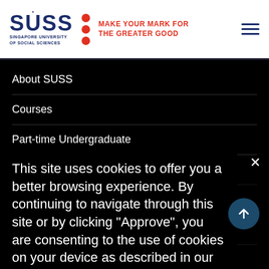[Figure (logo): SUSS (Singapore University of Social Sciences) logo with red dots and red tagline 'MAKE YOUR MARK FOR THE GREATER GOOD']
About SUSS
Courses
Part-time Undergraduate
Full-time Undergraduate
Law Programmes
Experience at SUSS
This site uses cookies to offer you a better browsing experience. By continuing to navigate through this site or by clicking "Approve", you are consenting to the use of cookies on your device as described in our privacy policy.
Current Students
Alumni